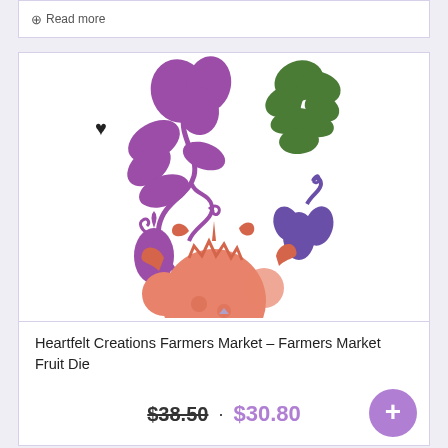Read more
[Figure (illustration): Farmers Market Fruit Die illustration showing colorful flower and fruit silhouettes: a large purple floral vine with swirls, a green botanical cluster, a purple small floral motif, and a salmon/coral colored pomegranate with leaves.]
Heartfelt Creations Farmers Market – Farmers Market Fruit Die
$38.50 · $30.80